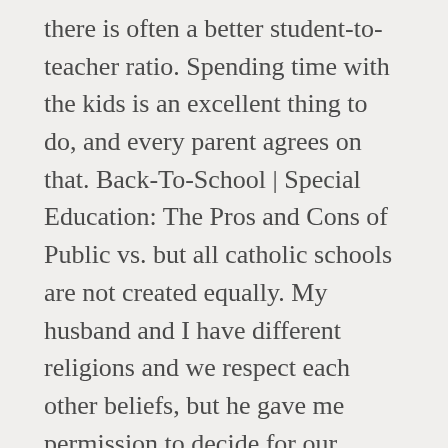there is often a better student-to-teacher ratio. Spending time with the kids is an excellent thing to do, and every parent agrees on that. Back-To-School | Special Education: The Pros and Cons of Public vs. but all catholic schools are not created equally. My husband and I have different religions and we respect each other beliefs, but he gave me permission to decide for our daughter. Studies have found a link between invested parents and successful students. It sends a message to students that education is important when parents take time to help out at the school whether it’s in the classroom or school events. This was one of my arguments when I laid down the “my children